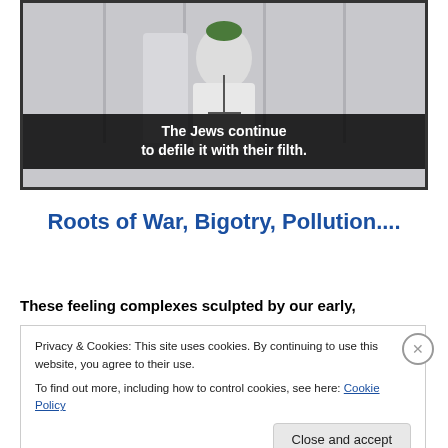[Figure (screenshot): Video screenshot showing a man in white robes at a podium/microphone with subtitle text overlay reading: 'The Jews continue to defile it with their filth.']
Roots of War, Bigotry, Pollution....
These feeling complexes sculpted by our early,
Privacy & Cookies: This site uses cookies. By continuing to use this website, you agree to their use.
To find out more, including how to control cookies, see here: Cookie Policy